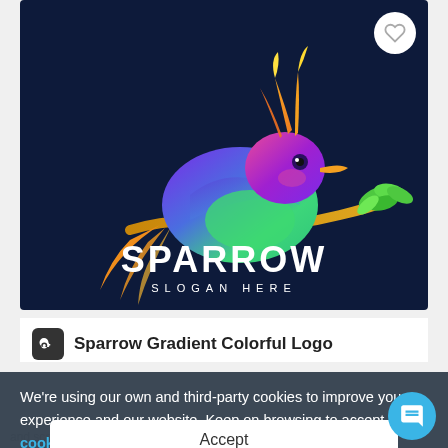[Figure (logo): Colorful gradient sparrow bird logo on dark navy background. Bird has orange crest, multicolor gradient body (purple, blue, green), holding a branch with green leaves. Text below reads SPARROW in bold white, SLOGAN HERE in smaller spaced white text.]
Sparrow Gradient Colorful Logo
by ArtnivoraStd
We're using our own and third-party cookies to improve your experience and our website. Keep on browsing to accept our cookie policy.
Accept
and scalable without losing resolution.Fonts are not